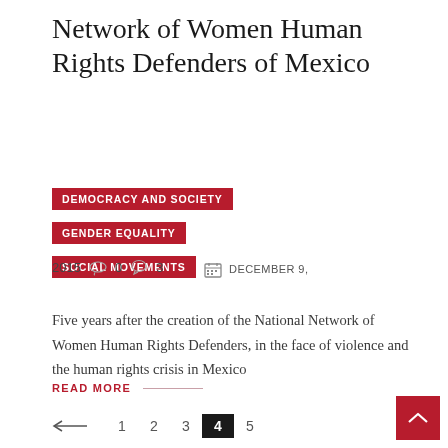Network of Women Human Rights Defenders of Mexico
DEMOCRACY AND SOCIETY
GENDER EQUALITY
SOCIAL MOVEMENTS
DECEMBER 9, 2015  ♡ 0  ○ 3
Five years after the creation of the National Network of Women Human Rights Defenders, in the face of violence and the human rights crisis in Mexico
READ MORE —
← 1 2 3 4 5